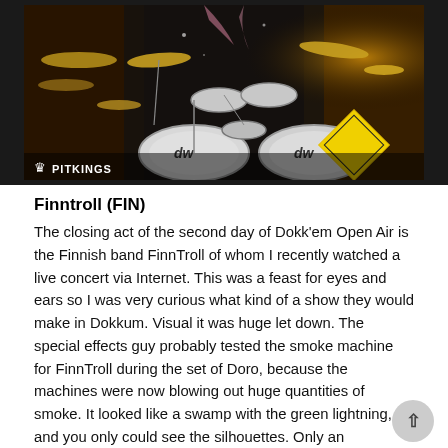[Figure (photo): Concert photo of a drum kit (DW brand) on stage with cymbals, toms, and bass drums. Dark stage lighting with warm golden tones. PITKINGS watermark at bottom left with a crown icon. A yellow diamond-shaped logo visible at bottom right.]
Finntroll (FIN)
The closing act of the second day of Dokk'em Open Air is the Finnish band FinnTroll of whom I recently watched a live concert via Internet. This was a feast for eyes and ears so I was very curious what kind of a show they would make in Dokkum. Visual it was huge let down. The special effects guy probably tested the smoke machine for FinnTroll during the set of Doro, because the machines were now blowing out huge quantities of smoke. It looked like a swamp with the green lightning, and you only could see the silhouettes. Only an